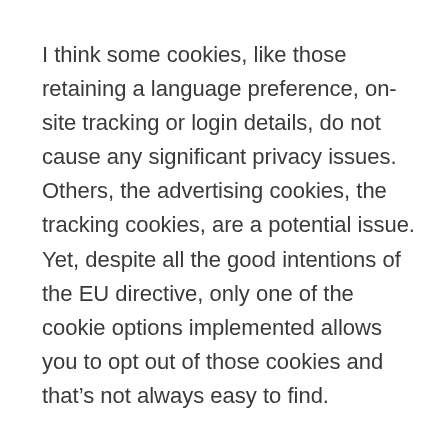I think some cookies, like those retaining a language preference, on-site tracking or login details, do not cause any significant privacy issues. Others, the advertising cookies, the tracking cookies, are a potential issue. Yet, despite all the good intentions of the EU directive, only one of the cookie options implemented allows you to opt out of those cookies and that's not always easy to find.

How do you manage cookies as a visitor? I've put a poll up on twitter, let me know on the poll, on